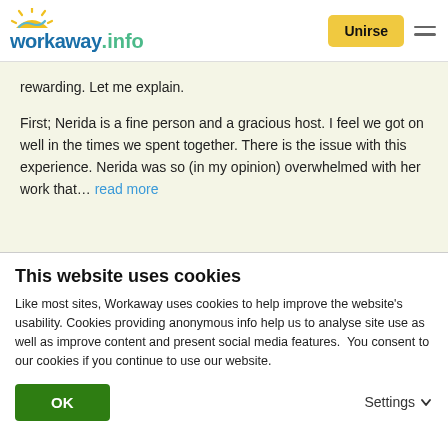workaway.info — Unirse
rewarding. Let me explain.

First; Nerida is a fine person and a gracious host. I feel we got on well in the times we spent together. There is the issue with this experience. Nerida was so (in my opinion) overwhelmed with her work that… read more
[Figure (infographic): Green info icon circle with 'i']
[Figure (infographic): 3 out of 5 yellow stars rating]
(Bueno.)
This website uses cookies
Like most sites, Workaway uses cookies to help improve the website's usability. Cookies providing anonymous info help us to analyse site use as well as improve content and present social media features.  You consent to our cookies if you continue to use our website.
OK
Settings